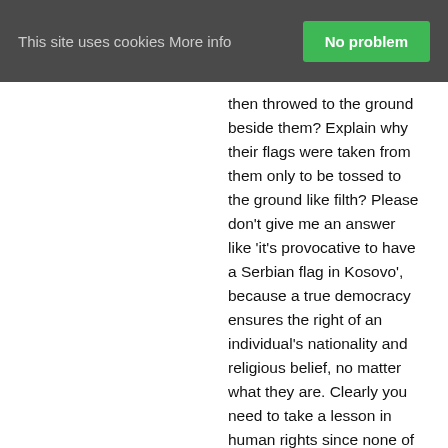This site uses cookies More info  No problem
then throwed to the ground beside them? Explain why their flags were taken from them only to be tossed to the ground like filth? Please don't give me an answer like 'it's provocative to have a Serbian flag in Kosovo', because a true democracy ensures the right of an individual's nationality and religious belief, no matter what they are. Clearly you need to take a lesson in human rights since none of you Albanians seem to respect them.